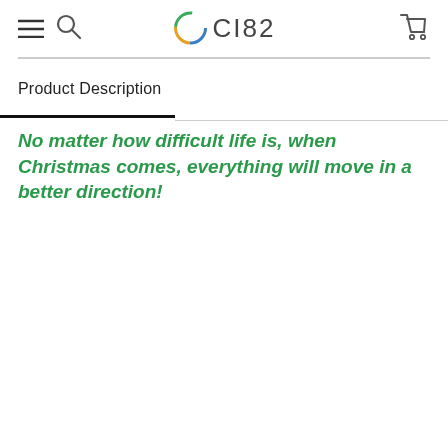CI82
Product Description
No matter how difficult life is, when Christmas comes, everything will move in a better direction!